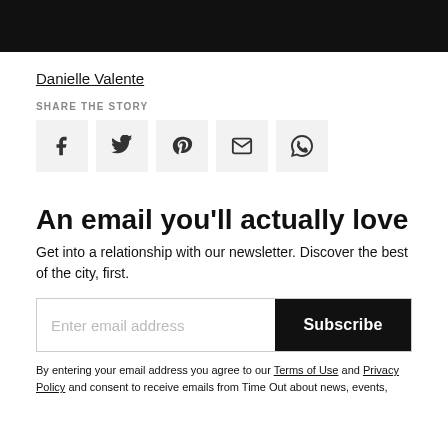[Figure (other): Black navigation bar at top of page]
Danielle Valente
SHARE THE STORY
[Figure (other): Social share icons: Facebook, Twitter, Pinterest, Email, WhatsApp]
An email you'll actually love
Get into a relationship with our newsletter. Discover the best of the city, first.
[Figure (other): Email subscription form with input field and Subscribe button]
By entering your email address you agree to our Terms of Use and Privacy Policy and consent to receive emails from Time Out about news, events,